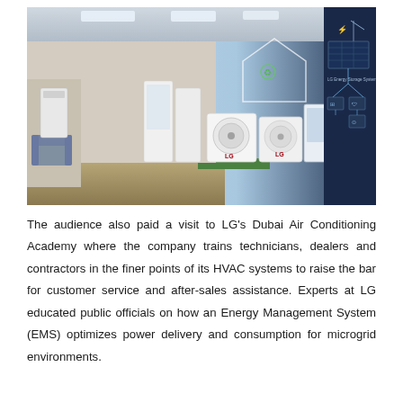[Figure (photo): Interior showroom/academy displaying LG air conditioning and HVAC equipment on the left, with white floor units, outdoor condensers, and wall-mounted units on display. On the right side, a dark navy wall shows the LG Energy Storage System diagram with connected icons for smart home, security, ventilation, and a power grid tower illustration.]
The audience also paid a visit to LG's Dubai Air Conditioning Academy where the company trains technicians, dealers and contractors in the finer points of its HVAC systems to raise the bar for customer service and after-sales assistance. Experts at LG educated public officials on how an Energy Management System (EMS) optimizes power delivery and consumption for microgrid environments.